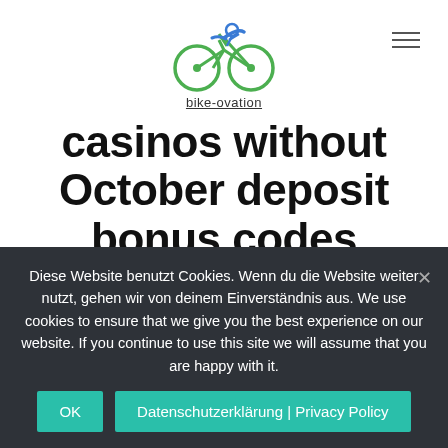[Figure (logo): bike-ovation logo: cyclist icon in green and blue circles, text 'bike-ovation' below]
casinos without October deposit bonus codes
APRIL 13, 2021
Diese Website benutzt Cookies. Wenn du die Website weiter nutzt, gehen wir von deinem Einverständnis aus. We use cookies to ensure that we give you the best experience on our website. If you continue to use this site we will assume that you are happy with it.